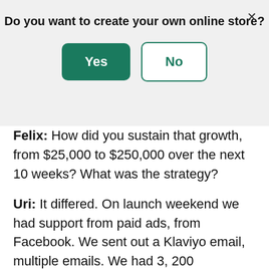Do you want to create your own online store?
Yes | No
Felix: How did you sustain that growth, from $25,000 to $250,000 over the next 10 weeks? What was the strategy?
Uri: It differed. On launch weekend we had support from paid ads, from Facebook. We sent out a Klaviyo email, multiple emails. We had 3, 200 subscribers. We sent out a Smile rewards program email because it was two times the points. And we sent out back in stock, which is really like launch emails, through the Swim app. We were really hitting from all angles and